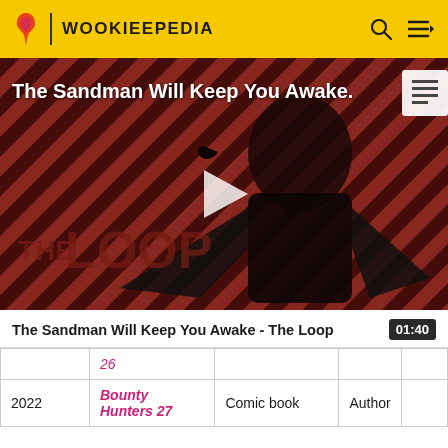WOOKIEEPEDIA
[Figure (screenshot): Video thumbnail for 'The Sandman Will Keep You Awake - The Loop' showing a figure in dark clothing against a diagonal striped red/dark background with THE LOOP text overlay and a play button]
The Sandman Will Keep You Awake - The Loop  01:40
|  | 26 |  |  |
| 2022 | Bounty Hunters 27 | Comic book | Author |